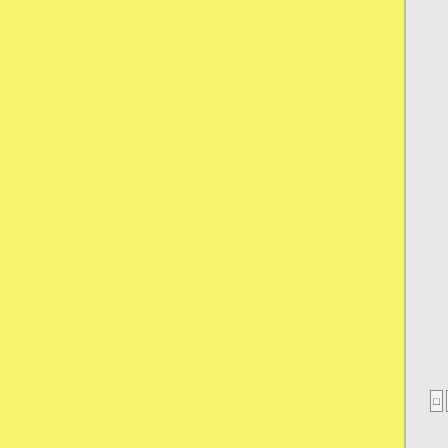[Figure (screenshot): Yellow textured panel on the left side of the page, approximately 415px wide]
as well and concentrate on improving his life.
Profile
Post H
Rap Sh
Oct 28, 2015 03:10
QUOTE